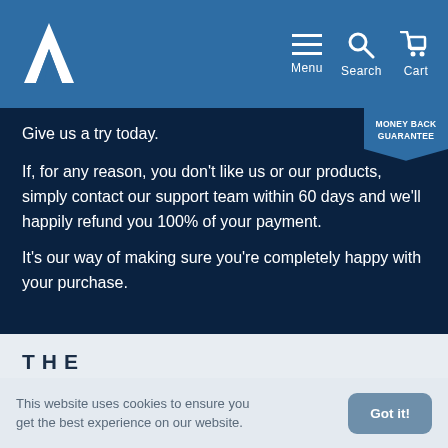Menu Search Cart
Give us a try today.
If, for any reason, you don't like us or our products, simply contact our support team within 60 days and we'll happily refund you 100% of your payment.
It's our way of making sure you're completely happy with your purchase.
THE
This website uses cookies to ensure you get the best experience on our website.